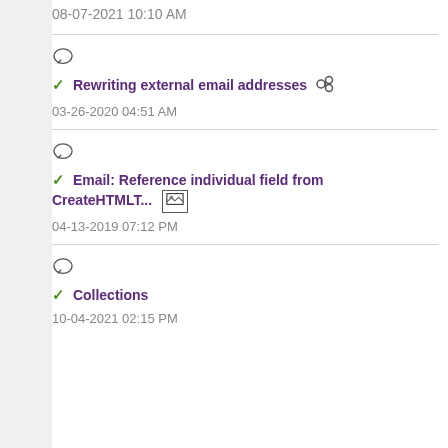08-07-2021 10:10 AM
Rewriting external email addresses
03-26-2020 04:51 AM
Email: Reference individual field from CreateHTMLT...
04-13-2019 07:12 PM
Collections
10-04-2021 02:15 PM